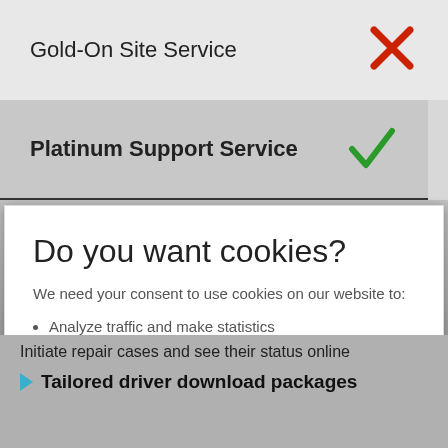Gold-On Site Service
Platinum Support Service
Do you want cookies?
We need your consent to use cookies on our website to:
Analyze traffic and make statistics
We will not collect these information unless you enable us to do so.
More information
I Accept
Initiate repair cases and see their status online
Tailored driver download packages